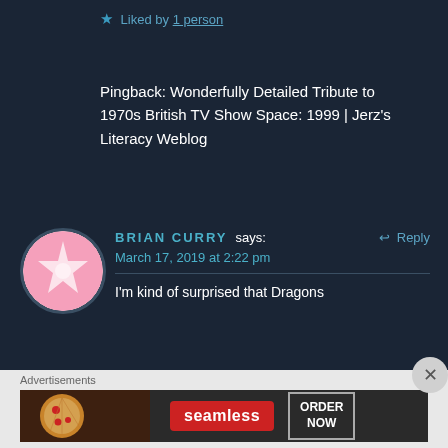★ Liked by 1 person
Pingback: Wonderfully Detailed Tribute to 1970s British TV Show Space: 1999 | Jerz's Literacy Weblog
BRIAN CURRY says:
March 17, 2019 at 2:22 pm
I'm kind of surprised that Dragons
Advertisements
[Figure (other): Seamless food delivery advertisement banner showing pizza image, seamless red logo, and ORDER NOW button]